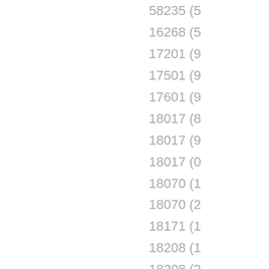58235 (5...
16268 (5...
17201 (9...
17501 (9...
17601 (9...
18017 (8...
18017 (9...
18017 (0...
18070 (1...
18070 (2...
18171 (1...
18208 (1...
18208 (2...
18212 (8...
18213 (8...
18214 (9...
18215 (0...
18216 (0...
18221 (8...